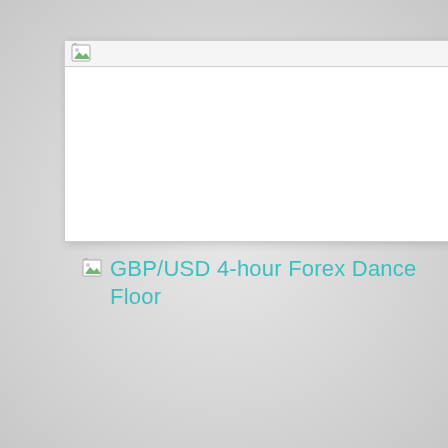[Figure (other): Broken/missing image placeholder in a white bordered box with a small broken-image icon in the top-left corner]
GBP/USD 4-hour Forex Dance Floor